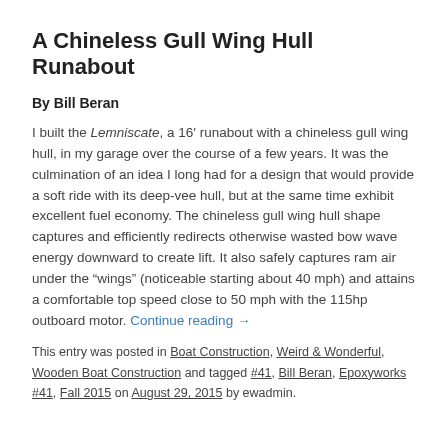A Chineless Gull Wing Hull Runabout
By Bill Beran
I built the Lemniscate, a 16’ runabout with a chineless gull wing hull, in my garage over the course of a few years. It was the culmination of an idea I long had for a design that would provide a soft ride with its deep-vee hull, but at the same time exhibit excellent fuel economy. The chineless gull wing hull shape captures and efficiently redirects otherwise wasted bow wave energy downward to create lift. It also safely captures ram air under the “wings” (noticeable starting about 40 mph) and attains a comfortable top speed close to 50 mph with the 115hp outboard motor. Continue reading →
This entry was posted in Boat Construction, Weird & Wonderful, Wooden Boat Construction and tagged #41, Bill Beran, Epoxyworks #41, Fall 2015 on August 29, 2015 by ewadmin.